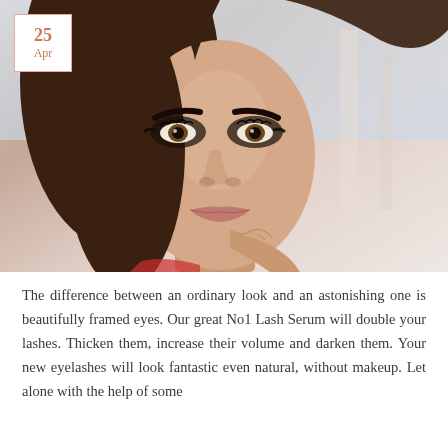[Figure (photo): Close-up portrait of a young woman with dark smoky eye makeup, full lips with pink lipstick, long dark hair pulled back, resting her fingers near her chin, with a blurred outdoor background. A date badge showing '25 Apr' is overlaid in the top-left corner.]
The difference between an ordinary look and an astonishing one is beautifully framed eyes. Our great No1 Lash Serum will double your lashes. Thicken them, increase their volume and darken them. Your new eyelashes will look fantastic even natural, without makeup. Let alone with the help of some